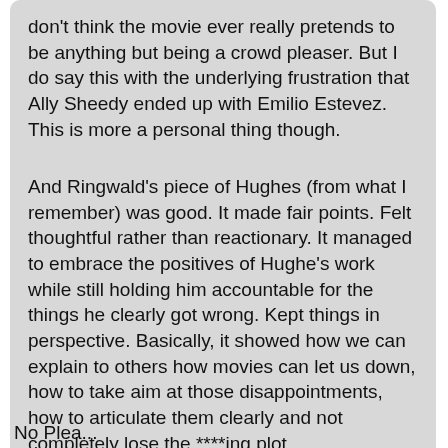don't think the movie ever really pretends to be anything but being a crowd pleaser. But I do say this with the underlying frustration that Ally Sheedy ended up with Emilio Estevez. This is more a personal thing though.
And Ringwald's piece of Hughes (from what I remember) was good. It made fair points. Felt thoughtful rather than reactionary. It managed to embrace the positives of Hughe's work while still holding him accountable for the things he clearly got wrong. Kept things in perspective. Basically, it showed how we can explain to others how movies can let us down, how to take aim at those disappointments, how to articulate them clearly and not completely lose the ****ing plot.
No Please... (this sentence is cut off)